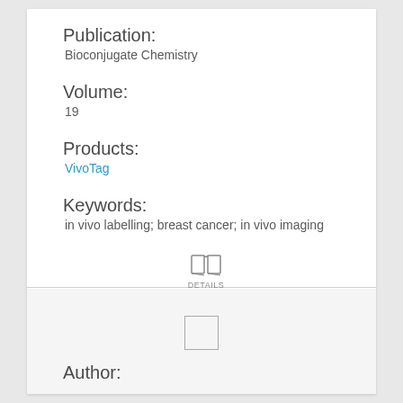Publication:
Bioconjugate Chemistry
Volume:
19
Products:
VivoTag
Keywords:
in vivo labelling; breast cancer; in vivo imaging
[Figure (other): Book/details icon with DETAILS label]
[Figure (other): Small rectangle placeholder image]
Author: